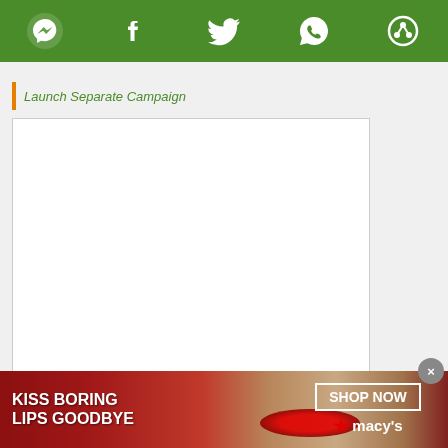[Figure (screenshot): Green social share toolbar with icons: Messenger, Facebook, Twitter, WhatsApp, and a circular share icon]
Launch Separate Campaign
[Figure (screenshot): White content box with border, mostly blank/white, with infolinks label in bottom-left corner]
[Figure (photo): Macy's advertisement banner: dark red background with woman's face (red lips), text 'KISS BORING LIPS GOODBYE', 'SHOP NOW' button, and Macy's star logo]